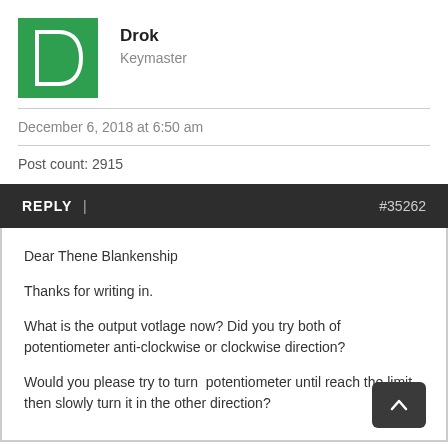[Figure (illustration): Green square avatar with white letter D outline]
Drok
Keymaster
December 6, 2018 at 6:50 am
Post count: 2915
REPLY | #35262
Dear Thene Blankenship

Thanks for writing in.

What is the output votlage now? Did you try both of potentiometer anti-clockwise or clockwise direction?

Would you please try to turn potentiometer until reach the limit then slowly turn it in the other direction?